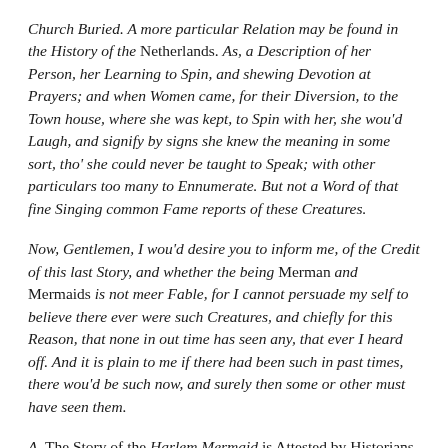Church Buried. A more particular Relation may be found in the History of the Netherlands. As, a Description of her Person, her Learning to Spin, and shewing Devotion at Prayers; and when Women came, for their Diversion, to the Town house, where she was kept, to Spin with her, she wou'd Laugh, and signify by signs she knew the meaning in some sort, tho' she could never be taught to Speak; with other particulars too many to Ennumerate. But not a Word of that fine Singing common Fame reports of these Creatures.
Now, Gentlemen, I wou'd desire you to inform me, of the Credit of this last Story, and whether the being Merman and Mermaids is not meer Fable, for I cannot persuade my self to believe there ever were such Creatures, and chiefly for this Reason, that none in out time has seen any, that ever I heard off. And it is plain to me if there had been such in past times, there wou'd be such now, and surely then some or other must have seen them.
A. The Story of the Harlem Mermaid is Attested by Historians of so good Credit, that it wou'd be Injustice not to believe them. It is not to be wondred that a Creature having so much of Human shape shou'd have Reason enough to be made capable of appearing